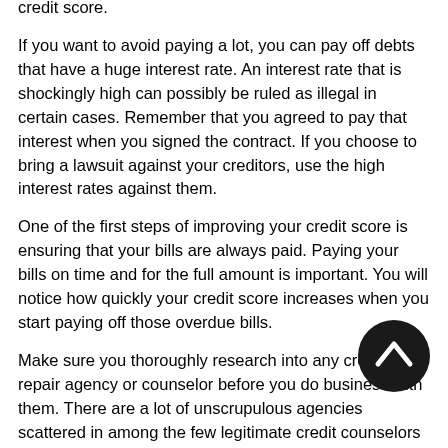credit score.
If you want to avoid paying a lot, you can pay off debts that have a huge interest rate. An interest rate that is shockingly high can possibly be ruled as illegal in certain cases. Remember that you agreed to pay that interest when you signed the contract. If you choose to bring a lawsuit against your creditors, use the high interest rates against them.
One of the first steps of improving your credit score is ensuring that your bills are always paid. Paying your bills on time and for the full amount is important. You will notice how quickly your credit score increases when you start paying off those overdue bills.
Make sure you thoroughly research into any credit score repair agency or counselor before you do business with them. There are a lot of unscrupulous agencies scattered in among the few legitimate credit counselors that are really there to help you. You'll find that other ones are just scams. Knowledgeable purchasers will always make sure that the credit counselor in question is legitimate before hiring.
Don't risk prison. You should steer clear of internet programs that show you how to clear your credit. This is illegal and you'll get caught. They